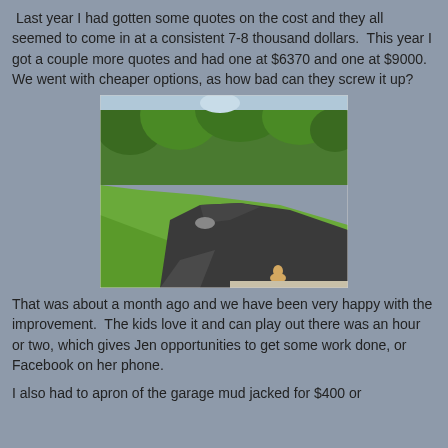Last year I had gotten some quotes on the cost and they all seemed to come in at a consistent 7-8 thousand dollars. This year I got a couple more quotes and had one at $6370 and one at $9000. We went with cheaper options, as how bad can they screw it up?
[Figure (photo): A freshly paved asphalt driveway curving through a green lawn with trees in the background. A small child or stuffed animal is visible near the bottom.]
That was about a month ago and we have been very happy with the improvement. The kids love it and can play out there was an hour or two, which gives Jen opportunities to get some work done, or Facebook on her phone.
I also had to apron of the garage mud jacked for $400 or